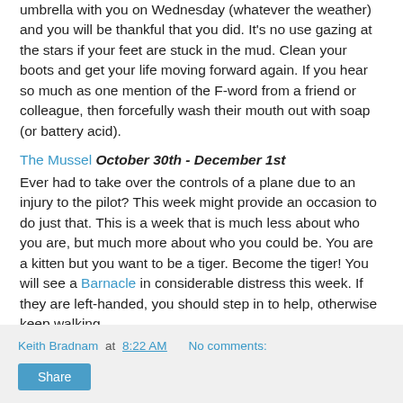umbrella with you on Wednesday (whatever the weather) and you will be thankful that you did. It's no use gazing at the stars if your feet are stuck in the mud. Clean your boots and get your life moving forward again. If you hear so much as one mention of the F-word from a friend or colleague, then forcefully wash their mouth out with soap (or battery acid).
The Mussel October 30th - December 1st
Ever had to take over the controls of a plane due to an injury to the pilot? This week might provide an occasion to do just that. This is a week that is much less about who you are, but much more about who you could be. You are a kitten but you want to be a tiger. Become the tiger! You will see a Barnacle in considerable distress this week. If they are left-handed, you should step in to help, otherwise keep walking.
Keith Bradnam at 8:22 AM   No comments:   Share